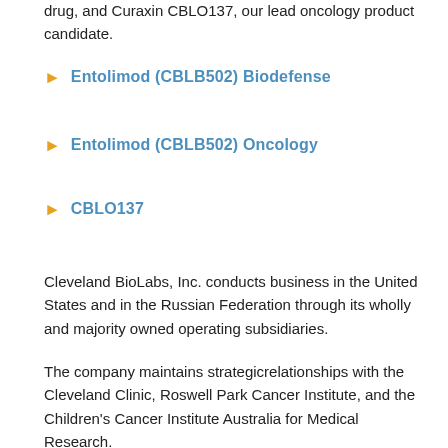drug, and Curaxin CBLO137, our lead oncology product candidate.
Entolimod (CBLB502) Biodefense
Entolimod (CBLB502) Oncology
CBLO137
Cleveland BioLabs, Inc. conducts business in the United States and in the Russian Federation through its wholly and majority owned operating subsidiaries.
The company maintains strategicrelationships with the Cleveland Clinic, Roswell Park Cancer Institute, and the Children's Cancer Institute Australia for Medical Research.